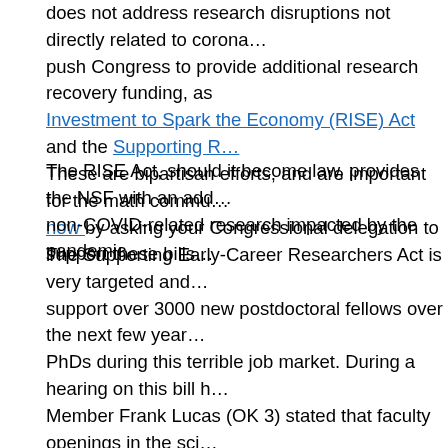does not address research disruptions not directly related to corona... push Congress to provide additional research recovery funding, as Investment to Spark the Economy (RISE) Act and the Supporting R... These are bipartisan efforts, and are important for the math commu... now by asking your Congressional delegation to support these bills.
The RISE Act, should it become law, provides the NSF with an add... non-COVID-related research impacted by the pandemic.
The Supporting Early-Career Researchers Act is very targeted and... support over 3000 new postdoctoral fellows over the next few year... PhDs during this terrible job market. During a hearing on this bill h... Member Frank Lucas (OK 3) stated that faculty openings in the sci... than 70% since 2019. As you may know, the pandemic is particular... in the STEM fields; the Senate version of the bill specifically requi... adversely affected, including women, faculty of color, and faculty a... The AMS has endorsed the Supporting Early-Career Researchers A... the Senate version.
...